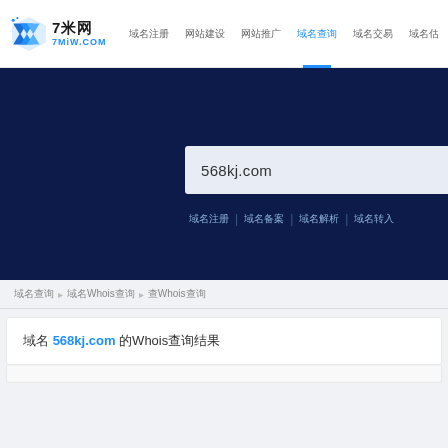7米网 7MiW.COM — navigation: 域名注册 网站建设 网站推广 域名查询 域名交易 域名估价 域名资讯
[Figure (screenshot): Dark navy hero banner with search input box showing '568kj.com' and four tab options below]
568kj.com
域名注册 | 域名备案 | 域名解析 | 域名转入
域名查询 > 域名Whois查询
域名 568kj.com 的Whois查询结果